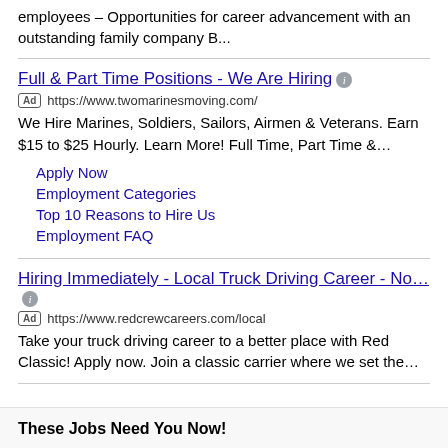employees – Opportunities for career advancement with an outstanding family company B...
Full & Part Time Positions - We Are Hiring
https://www.twomarinesmoving.com/
We Hire Marines, Soldiers, Sailors, Airmen & Veterans. Earn $15 to $25 Hourly. Learn More! Full Time, Part Time &...
Apply Now
Employment Categories
Top 10 Reasons to Hire Us
Employment FAQ
Hiring Immediately - Local Truck Driving Career - No...
https://www.redcrewcareers.com/local
Take your truck driving career to a better place with Red Classic! Apply now. Join a classic carrier where we set the...
These Jobs Need You Now!